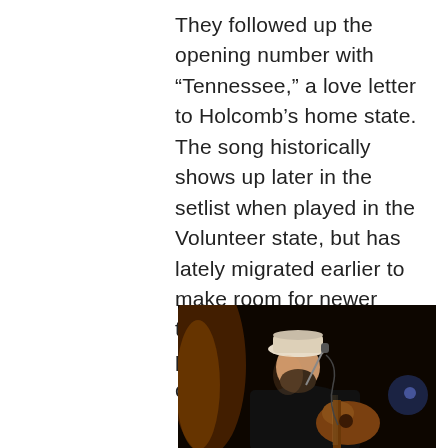They followed up the opening number with “Tennessee,” a love letter to Holcomb’s home state. The song historically shows up later in the setlist when played in the Volunteer state, but has lately migrated earlier to make room for newer tunes. Regardless of the placement, the capacity crowd sung every line.
[Figure (photo): A bearded man wearing a white/cream hat singing into a microphone while playing an acoustic guitar on a dark stage with stage lighting.]